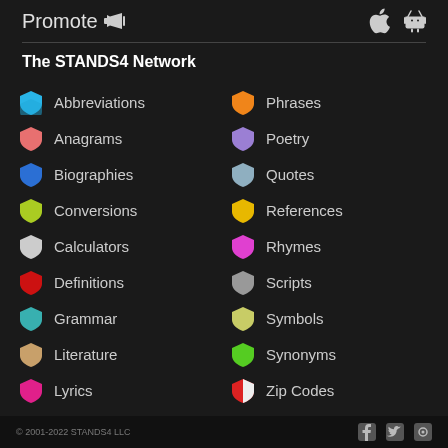Promote
The STANDS4 Network
Abbreviations
Phrases
Anagrams
Poetry
Biographies
Quotes
Conversions
References
Calculators
Rhymes
Definitions
Scripts
Grammar
Symbols
Literature
Synonyms
Lyrics
Zip Codes
© 2001-2022 STANDS4 LLC